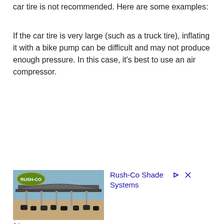car tire is not recommended. Here are some examples:
If the car tire is very large (such as a truck tire), inflating it with a bike pump can be difficult and may not produce enough pressure. In this case, it's best to use an air compressor.
[Figure (illustration): Advertisement for Rush-Co Shade Systems showing a large shade structure over cattle with the Rush-Co logo in the upper left corner.]
Ad